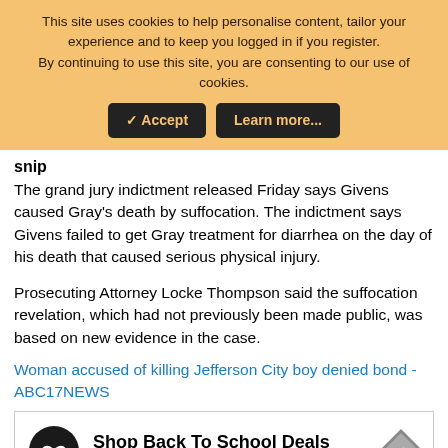This site uses cookies to help personalise content, tailor your experience and to keep you logged in if you register.
By continuing to use this site, you are consenting to our use of cookies.
[Accept] [Learn more...]
snip
The grand jury indictment released Friday says Givens caused Gray's death by suffocation. The indictment says Givens failed to get Gray treatment for diarrhea on the day of his death that caused serious physical injury.
Prosecuting Attorney Locke Thompson said the suffocation revelation, which had not previously been made public, was based on new evidence in the case.
Woman accused of killing Jefferson City boy denied bond - ABC17NEWS
[Figure (other): Advertisement banner: Shop Back To School Deals - Leesburg Premium Outlets with logo icon and navigation arrow]